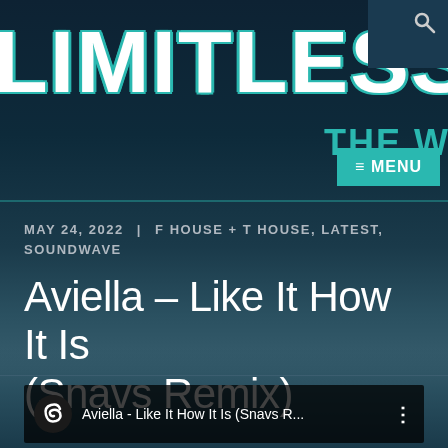LIMITLESS
THE W
≡ MENU
MAY 24, 2022 | F HOUSE + T HOUSE, LATEST, SOUNDWAVE
Aviella – Like It How It Is (Snavs Remix)
[Figure (screenshot): YouTube/SoundCloud embedded player bar showing Aviella - Like It How It Is (Snavs R... with a circular logo icon on the left and three-dot menu on the right]